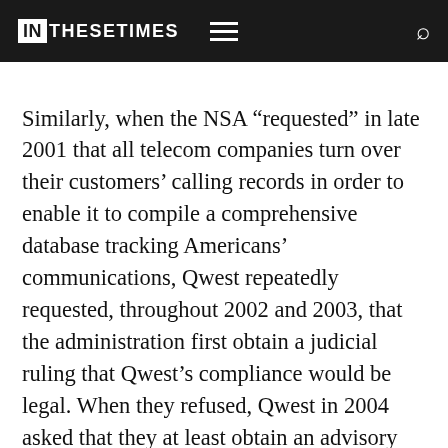IN THESE TIMES
Similarly, when the NSA “requested” in late 2001 that all telecom companies turn over their customers’ calling records in order to enable it to compile a comprehensive database tracking Americans’ communications, Qwest repeatedly requested, throughout 2002 and 2003, that the administration first obtain a judicial ruling that Qwest’s compliance would be legal. When they refused, Qwest in 2004 asked that they at least obtain an advisory ruling from the administration’s own lawyers in the Justice Department. When the NSA refused that request, too–and made clear that it was unwilling to obtain any ruling as to the legality of its program–Qwest refused to comply due to its concern that the program will end. Qwest's lawyers...